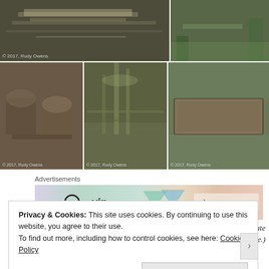[Figure (photo): Grid of archaeological site photographs by Rudy Owens, 2017. Top: wide photo of stone ruins/foundation and a garden with trees. Bottom row: three photos showing arched stone structures, a cobblestone path, and a stone sarcophagus/trough.]
Advertisements
[Figure (screenshot): WordPress VIP advertisement banner with colorful background showing wp logo, 'vip' text, and 'Learn more →' button]
(Click on each photograph to see a larger picture on a separate picture page.)
Privacy & Cookies: This site uses cookies. By continuing to use this website, you agree to their use.
To find out more, including how to control cookies, see here: Cookie Policy
Close and accept